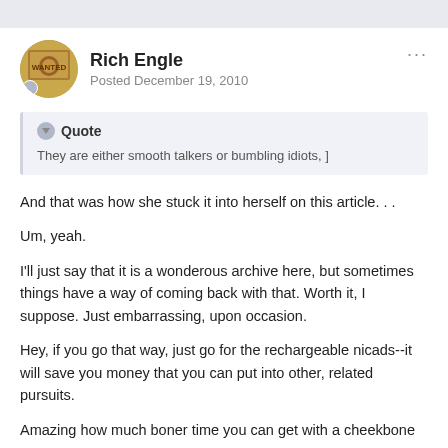Rich Engle
Posted December 19, 2010
Quote
They are either smooth talkers or bumbling idiots, ]
And that was how she stuck it into herself on this article. . .
Um, yeah.
I'll just say that it is a wonderous archive here, but sometimes things have a way of coming back with that. Worth it, I suppose. Just embarrassing, upon occasion.
Hey, if you go that way, just go for the rechargeable nicads--it will save you money that you can put into other, related pursuits.
Amazing how much boner time you can get with a cheekbone